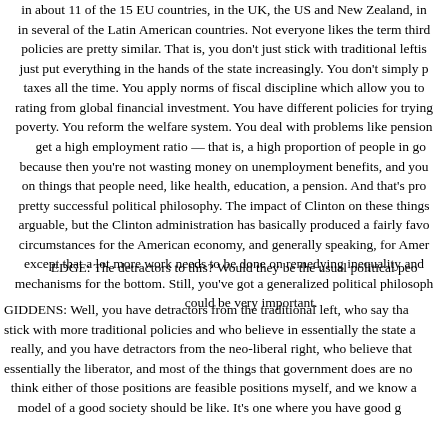in about 11 of the 15 EU countries, in the UK, the US and New Zealand, in in several of the Latin American countries. Not everyone likes the term third policies are pretty similar. That is, you don't just stick with traditional leftis just put everything in the hands of the state increasingly. You don't simply p taxes all the time. You apply norms of fiscal discipline which allow you to rating from global financial investment. You have different policies for trying poverty. You reform the welfare system. You deal with problems like pension get a high employment ratio — that is, a high proportion of people in go because then you're not wasting money on unemployment benefits, and you on things that people need, like health, education, a pension. And that's pro pretty successful political philosophy. The impact of Clinton on these things arguable, but the Clinton administration has basically produced a fairly favo circumstances for the American economy, and generally speaking, for Amer except that a lot more work needs to be done on remedying inequality and mechanisms for the bottom. Still, you've got a generalized political philosop could be very important.
EDGE: The detractors to this? Would they be the usual political peo
GIDDENS: Well, you have detractors from the traditional left, who say tha stick with more traditional policies and who believe in essentially the state a really, and you have detractors from the neo-liberal right, who believe that essentially the liberator, and most of the things that government does are no think either of those positions are feasible positions myself, and we know a model of a good society should be like. It's one where you have good g